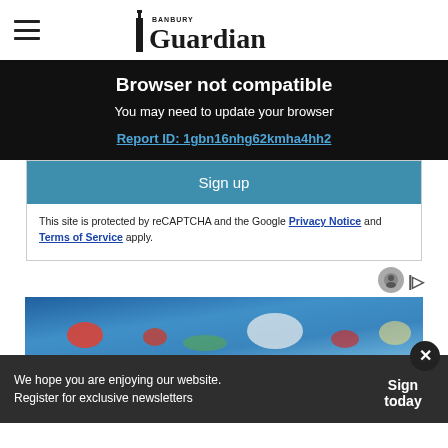Banbury Guardian
Browser not compatible
You may need to update your browser
Report ID: 1gbn16nhg62kmha4hh2
Sign up
This site is protected by reCAPTCHA and the Google Privacy Notice and Terms of Service apply.
[Figure (photo): Food photography showing colorful dishes on a blue background]
We hope you are enjoying our website. Register for exclusive newsletters
Sign today